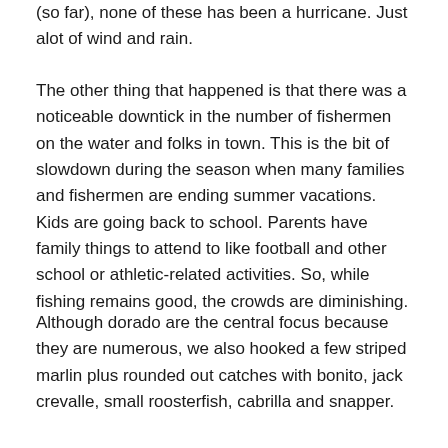(so far), none of these has been a hurricane. Just alot of wind and rain.
The other thing that happened is that there was a noticeable downtick in the number of fishermen on the water and folks in town. This is the bit of slowdown during the season when many families and fishermen are ending summer vacations. Kids are going back to school. Parents have family things to attend to like football and other school or athletic-related activities. So, while fishing remains good, the crowds are diminishing.
Although dorado are the central focus because they are numerous, we also hooked a few striped marlin plus rounded out catches with bonito, jack crevalle, small roosterfish, cabrilla and snapper.